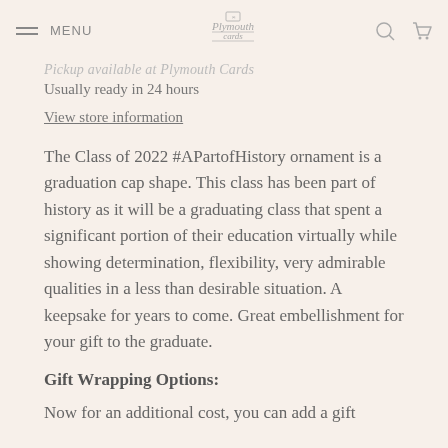MENU | Plymouth cards
Pickup available at Plymouth Cards
Usually ready in 24 hours
View store information
The Class of 2022 #APartofHistory ornament is a graduation cap shape. This class has been part of history as it will be a graduating class that spent a significant portion of their education virtually while showing determination, flexibility, very admirable qualities in a less than desirable situation. A keepsake for years to come. Great embellishment for your gift to the graduate.
Gift Wrapping Options:
Now for an additional cost, you can add a gift